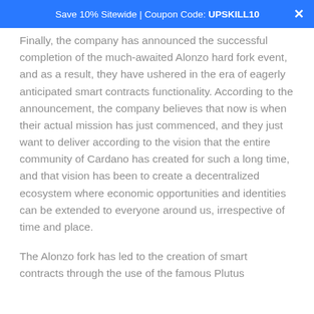Save 10% Sitewide | Coupon Code: UPSKILL10
Finally, the company has announced the successful completion of the much-awaited Alonzo hard fork event, and as a result, they have ushered in the era of eagerly anticipated smart contracts functionality. According to the announcement, the company believes that now is when their actual mission has just commenced, and they just want to deliver according to the vision that the entire community of Cardano has created for such a long time, and that vision has been to create a decentralized ecosystem where economic opportunities and identities can be extended to everyone around us, irrespective of time and place.
The Alonzo fork has led to the creation of smart contracts through the use of the famous Plutus